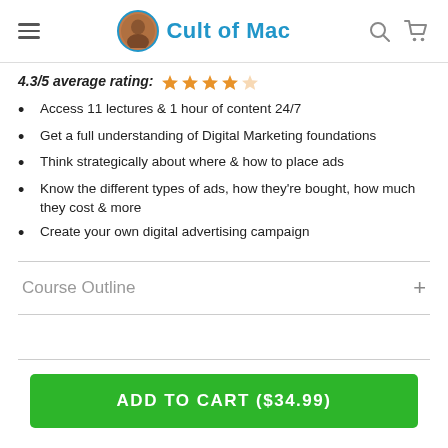Cult of Mac
4.3/5 average rating: ★ ★ ★ ★ ☆
Access 11 lectures & 1 hour of content 24/7
Get a full understanding of Digital Marketing foundations
Think strategically about where & how to place ads
Know the different types of ads, how they're bought, how much they cost & more
Create your own digital advertising campaign
Course Outline
ADD TO CART ($34.99)